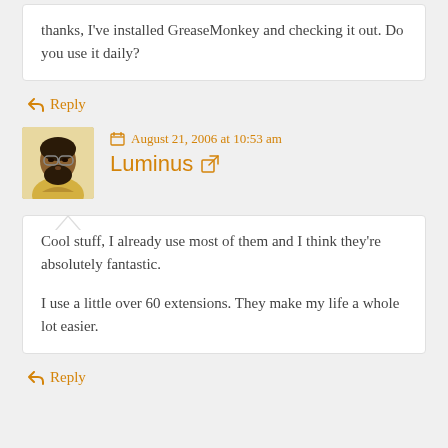thanks, I've installed GreaseMonkey and checking it out. Do you use it daily?
↩ Reply
August 21, 2006 at 10:53 am
Luminus
Cool stuff, I already use most of them and I think they're absolutely fantastic.

I use a little over 60 extensions. They make my life a whole lot easier.
↩ Reply